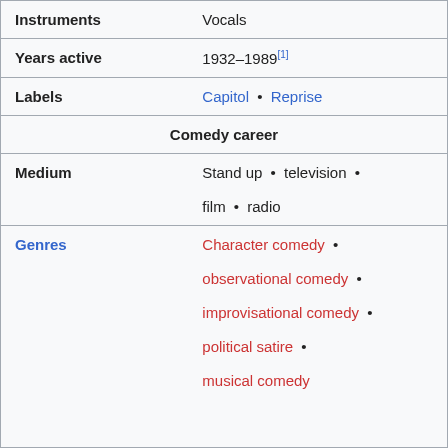| Instruments | Vocals |
| Years active | 1932–1989[1] |
| Labels | Capitol • Reprise |
| Comedy career |  |
| Medium | Stand up • television • film • radio |
| Genres | Character comedy • observational comedy • improvisational comedy • political satire • musical comedy |